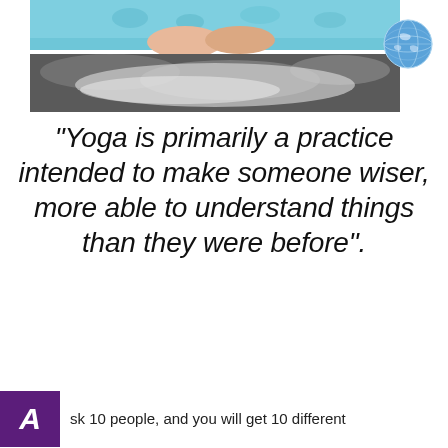[Figure (photo): Top portion of image showing hands in a yoga/meditation pose on a surface with blue fabric and a dark stone or mat.]
[Figure (logo): Globe icon with blue and white colors in the upper right corner.]
“Yoga is primarily a practice intended to make someone wiser, more able to understand things than they were before”.
sk 10 people, and you will get 10 different